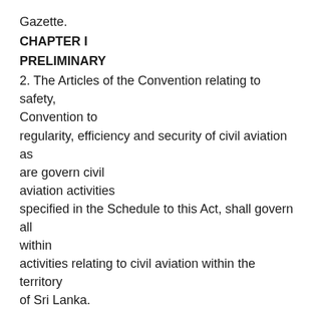Gazette.
CHAPTER I
PRELIMINARY
2. The Articles of the Convention relating to safety, Convention to regularity, efficiency and security of civil aviation as are govern civil aviation activities specified in the Schedule to this Act, shall govern all within activities relating to civil aviation within the territory of Sri Lanka. Sri Lanka.
3. (1) The provisions of this Act shall apply in respect Application of of all activities relating to civil aviation within the territory the provisions of